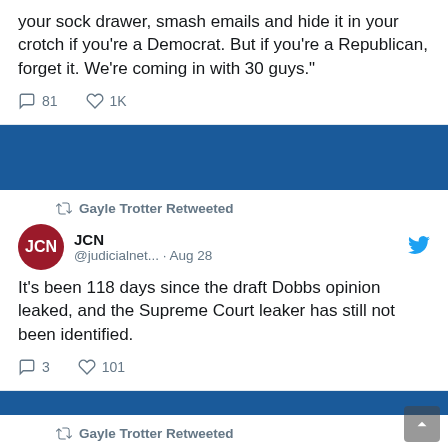your sock drawer, smash emails and hide it in your crotch if you're a Democrat. But if you're a Republican, forget it. We're coming in with 30 guys."
81 replies · 1K likes
Gayle Trotter Retweeted
JCN @judicialnet... · Aug 28
It's been 118 days since the draft Dobbs opinion leaked, and the Supreme Court leaker has still not been identified.
3 replies · 101 likes
Gayle Trotter Retweeted
JCN @judicialnet... · Aug 28
ICYMI from JCN President...